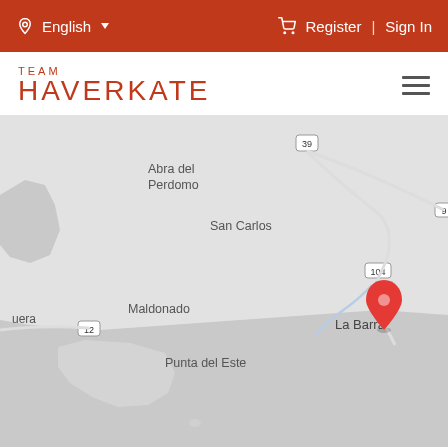English | Register | Sign In
TEAM HAVERKATE
[Figure (map): Google Maps style map showing the coastal region of Uruguay including La Barra (marked with a red pin), Punta del Este, Maldonado, San Carlos, José Ignacio, Santa Mónica, Abra del Perdomo, and El Cara. Roads 39, 9, 104, and 12 are labeled.]